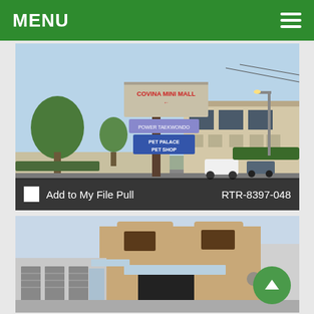MENU
[Figure (photo): Exterior photo of Covina Mini Mall with tall commercial sign showing 'Covina Mini Mall', 'Power Taekwondo', 'Pet Palace Pet Shop'. A two-story beige commercial building is visible in the background.]
Add to My File Pull   RTR-8397-048
[Figure (photo): Exterior photo of a two-story tan/brown stucco commercial building with large windows and storefront units below. Several garage-style roll-up doors visible on the left side.]